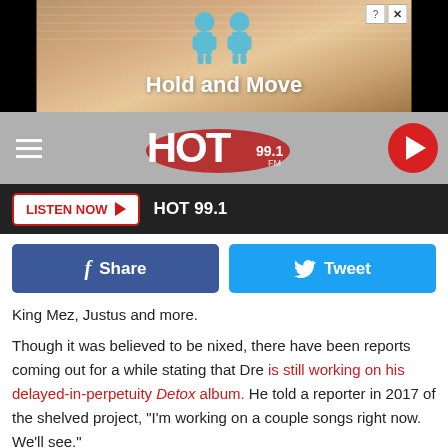[Figure (screenshot): Ad banner for 'Hold and Move' game/app with cartoon figures and sandy background]
[Figure (logo): HOT 99.1 FM radio station logo with hamburger menu and play button]
LISTEN NOW ▶  HOT 99.1
f Share    Tweet
King Mez, Justus and more.
Though it was believed to be nixed, there have been reports coming out for a while stating that Dre is still working on his delayed-in-perpetuity Detox album. He told a reporter in 2017 of the shelved project, "I'm working on a couple songs right now. We'll see."
As recently as last year, the LP appeared to still be in the cards. "It's real, man. It exists," producer Flying Lotus told